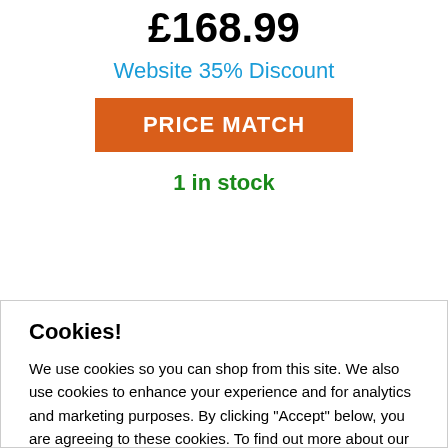£168.99
Website 35% Discount
PRICE MATCH
1 in stock
Cookies!
We use cookies so you can shop from this site. We also use cookies to enhance your experience and for analytics and marketing purposes. By clicking "Accept" below, you are agreeing to these cookies. To find out more about our cookies please click here.
ACCEPT
DECLINE